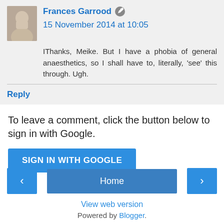Frances Garrood  15 November 2014 at 10:05
IThanks, Meike. But I have a phobia of general anaesthetics, so I shall have to, literally, 'see' this through. Ugh.
Reply
To leave a comment, click the button below to sign in with Google.
SIGN IN WITH GOOGLE
Home
View web version
Powered by Blogger.